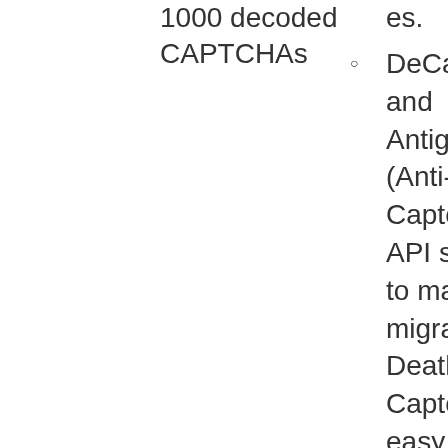1000 decoded CAPTCHAs
es.
DeCaptcher and Antigate (Anti-Captcha API support to make migration to Death By Captcha as easy as possible